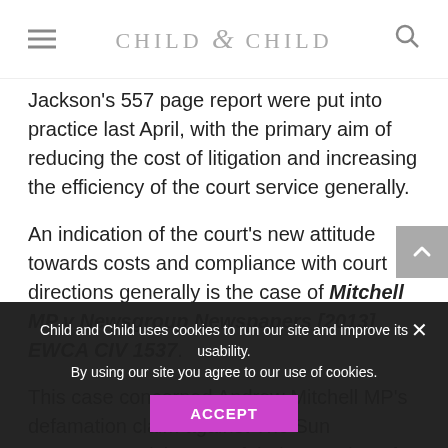Child & Child
Jackson's 557 page report were put into practice last April, with the primary aim of reducing the cost of litigation and increasing the efficiency of the court service generally.
An indication of the court's new attitude towards costs and compliance with court directions generally is the case of Mitchell MP v Newsgroup Newspapers [2013] EWCA CIV 1537.
This case concerned Andrew Mitchell MP's defamation claim against The Sun newspaper arising out of their reporting of the 'Plebgate'
Child and Child uses cookies to run our site and improve its usability. By using our site you agree to our use of cookies.